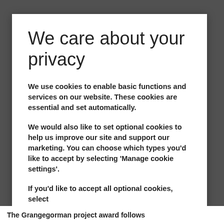We care about your privacy
We use cookies to enable basic functions and services on our website. These cookies are essential and set automatically.
We would also like to set optional cookies to help us improve our site and support our marketing. You can choose which types you'd like to accept by selecting 'Manage cookie settings'.
If you'd like to accept all optional cookies, select
The Grangegorman project award follows